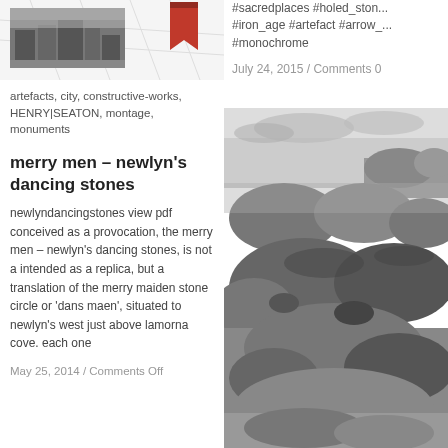[Figure (photo): Small black and white photo of stone ruins, top of left column]
[Figure (illustration): Red bookmark/ribbon icon in top left column]
artefacts, city, constructive-works, HENRY|SEATON, montage, monuments
merry men – newlyn's dancing stones
newlyndancingstones view pdf conceived as a provocation, the merry men – newlyn's dancing stones, is not a intended as a replica, but a translation of the merry maiden stone circle or 'dans maen', situated to newlyn's west just above lamorna cove. each one
May 25, 2014 / Comments Off
#sacredplaces #holed_ston... #iron_age #artefact #arrow_... #monochrome
July 24, 2015 / Comments 0
[Figure (photo): Black and white landscape photo of rocky granite moorland, right column]